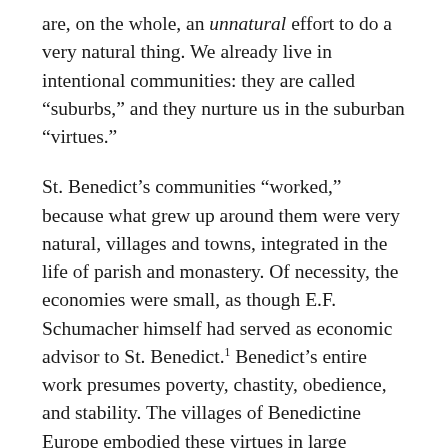are, on the whole, an unnatural effort to do a very natural thing. We already live in intentional communities: they are called “suburbs,” and they nurture us in the suburban “virtues.”
St. Benedict’s communities “worked,” because what grew up around them were very natural, villages and towns, integrated in the life of parish and monastery. Of necessity, the economies were small, as though E.F. Schumacher himself had served as economic advisor to St. Benedict.¹ Benedict’s entire work presumes poverty, chastity, obedience, and stability. The villages of Benedictine Europe embodied these virtues in large measure in accordance with their circumstances.
We must understand that you cannot have a suburban